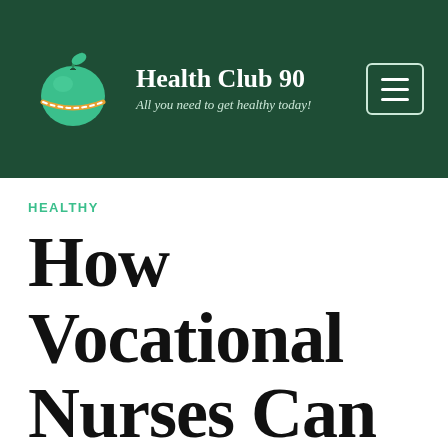Health Club 90 — All you need to get healthy today!
HEALTHY
How Vocational Nurses Can Become a BSN